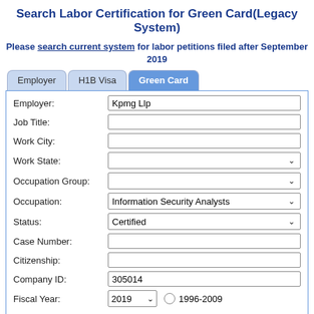Search Labor Certification for Green Card(Legacy System)
Please search current system for labor petitions filed after September 2019
[Figure (screenshot): Tab navigation with three tabs: Employer, H1B Visa, Green Card (active)]
| Field | Value |
| --- | --- |
| Employer: | Kpmg Llp |
| Job Title: |  |
| Work City: |  |
| Work State: |  |
| Occupation Group: |  |
| Occupation: | Information Security Analysts |
| Status: | Certified |
| Case Number: |  |
| Citizenship: |  |
| Company ID: | 305014 |
| Fiscal Year: | 2019  ○ 1996-2009 |